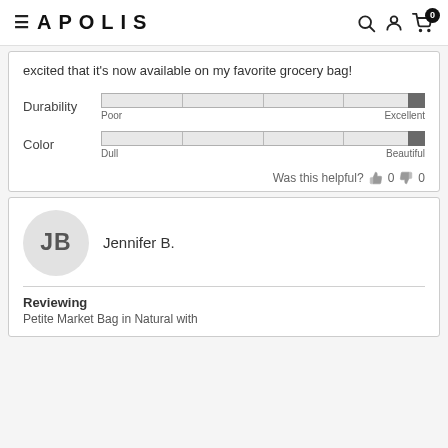APOLIS
excited that it's now available on my favorite grocery bag!
[Figure (other): Durability rating bar showing near-maximum rating between Poor and Excellent]
[Figure (other): Color rating bar showing near-maximum rating between Dull and Beautiful]
Was this helpful? 0  0
Jennifer B.
Reviewing
Petite Market Bag in Natural with...